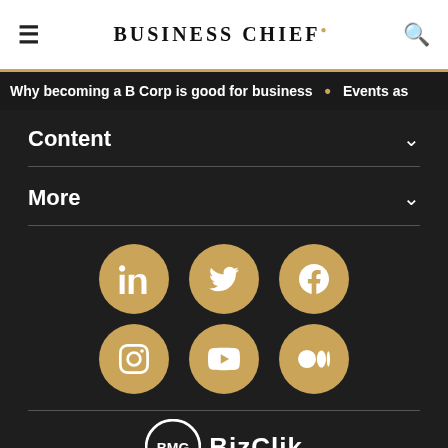BUSINESS CHIEF.
Why becoming a B Corp is good for business • Events as
Content
More
[Figure (infographic): Six social media icons in gold circles: LinkedIn, Twitter, Facebook (top row); Instagram, YouTube, Medium (bottom row)]
[Figure (logo): BMG BizClik logo with circular BMG emblem and BizClik text in white]